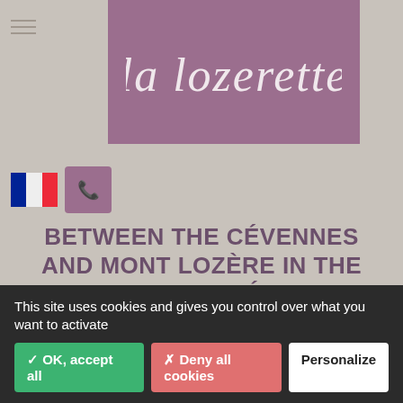[Figure (logo): La Lozerette logo — handwritten script text on purple/mauve background]
[Figure (illustration): French flag icon (blue, white, red vertical tricolor)]
[Figure (illustration): Purple square button with white phone/handset icon]
BETWEEN THE CÉVENNES AND MONT LOZÈRE IN THE HEART OF THE CÉVENNES NATIONAL PARK NEAR THE GORGES DU TARN.
[Figure (logo): Facebook 'f' icon in blue square]
Here, surrounded by hiking trails, we are in a little paradise … as the great writer Robert Louis Stevenson wrote during his
This site uses cookies and gives you control over what you want to activate
✓ OK, accept all
✗ Deny all cookies
Personalize